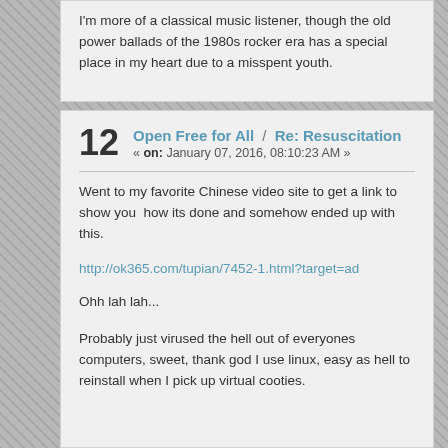I'm more of a classical music listener, though the old power ballads of the 1980s rocker era has a special place in my heart due to a misspent youth.
12  Open Free for All / Re: Resuscitation
« on: January 07, 2016, 08:10:23 AM »
Went to my favorite Chinese video site to get a link to show you  how its done and somehow ended up with this.
http://ok365.com/tupian/7452-1.html?target=ad
Ohh lah lah...
Probably just virused the hell out of everyones computers, sweet, thank god I use linux, easy as hell to reinstall when I pick up virtual cooties.